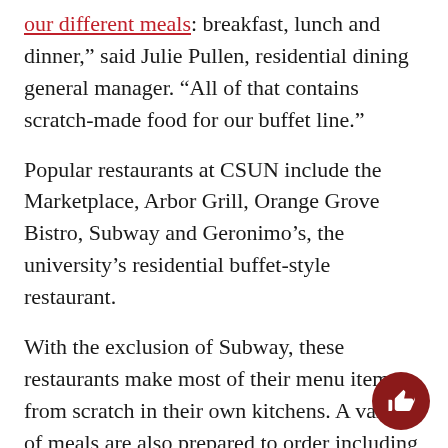our different meals: breakfast, lunch and dinner," said Julie Pullen, residential dining general manager. "All of that contains scratch-made food for our buffet line."
Popular restaurants at CSUN include the Marketplace, Arbor Grill, Orange Grove Bistro, Subway and Geronimo’s, the university’s residential buffet-style restaurant.
With the exclusion of Subway, these restaurants make most of their menu items from scratch in their own kitchens. A variety of meals are also prepared to order including salads, pastas and sandwiches. Subway prepares most of its produce as well as baking breads on-site, said Tim Killops, associate director of facilities.
“Subway is always looking for ways to stay ahead of the curve...